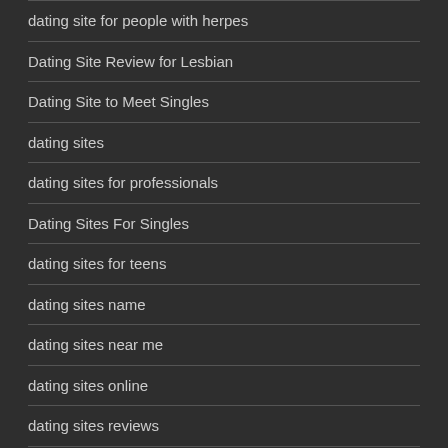dating site for people with herpes
Dating Site Review for Lesbian
Dating Site to Meet Singles
dating sites
dating sites for professionals
Dating Sites For Singles
dating sites for teens
dating sites name
dating sites near me
dating sites online
dating sites reviews